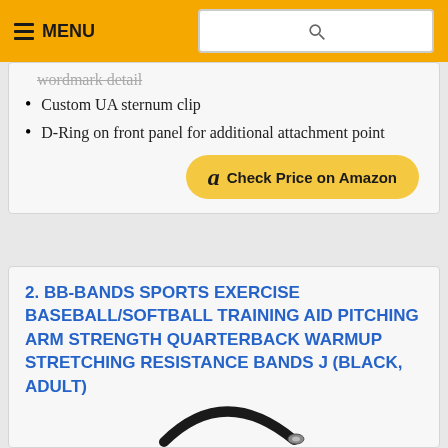MENU [search bar]
wordmark detail
Custom UA sternum clip
D-Ring on front panel for additional attachment point
[Figure (other): Check Price on Amazon button with Amazon logo]
2. BB-BANDS SPORTS EXERCISE BASEBALL/SOFTBALL TRAINING AID PITCHING ARM STRENGTH QUARTERBACK WARMUP STRETCHING RESISTANCE BANDS J (BLACK, ADULT)
[Figure (photo): Partial view of BB-Bands sports resistance band product, black curved band with metal clip]